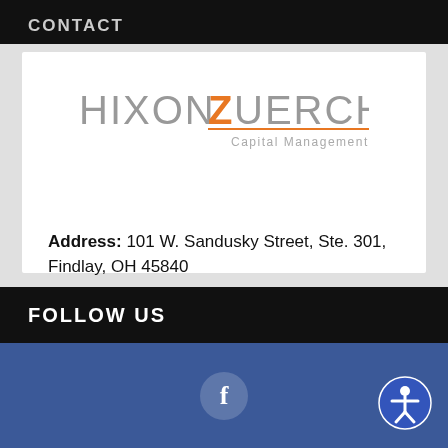CONTACT
[Figure (logo): Hixon Zuercher Capital Management logo with orange Z]
Address: 101 W. Sandusky Street, Ste. 301, Findlay, OH 45840
Phone: 419-425-2400
FOLLOW US
[Figure (illustration): Facebook blue banner with Facebook 'f' icon and accessibility icon]